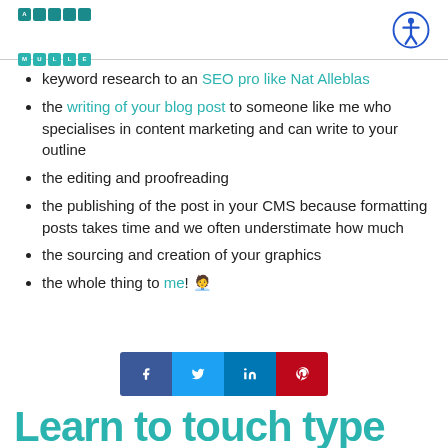Sandra Miller logo and accessibility icon
keyword research to an SEO pro like Nat Alleblas
the writing of your blog post to someone like me who specialises in content marketing and can write to your outline
the editing and proofreading
the publishing of the post in your CMS because formatting posts takes time and we often understimate how much
the sourcing and creation of your graphics
the whole thing to me! 🧑‍💻
[Figure (infographic): Social sharing buttons: Facebook, Twitter, LinkedIn, Pinterest]
Learn to touch type